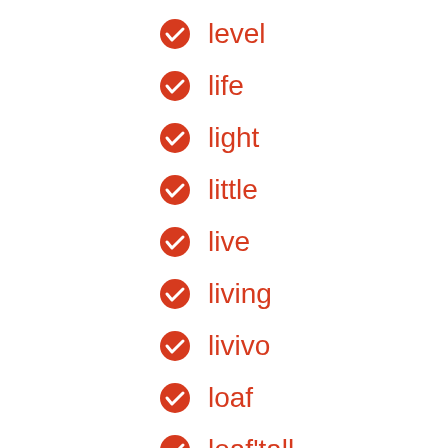level
life
light
little
live
living
livivo
loaf
loaf'tall
lokken
lombok
london
look
lord
lorenz
louis
lovely
luxury
made